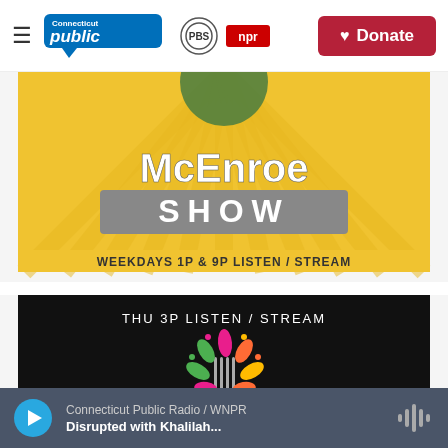Connecticut Public | PBS | NPR | Donate
[Figure (photo): McEnroe Show promotional banner — yellow sunburst background with text 'McEnroe Show' and 'WEEKDAYS 1P & 9P LISTEN / STREAM']
[Figure (photo): Seasoned show promotional banner — black background with colorful fork logo and text 'THU 3P LISTEN / STREAM' and 'SEASONED']
Connecticut Public Radio / WNPR — Disrupted with Khalilah...